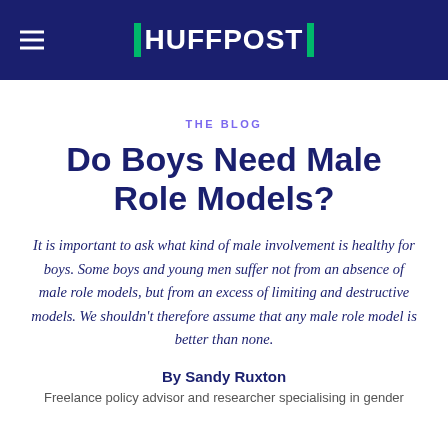HUFFPOST
THE BLOG
Do Boys Need Male Role Models?
It is important to ask what kind of male involvement is healthy for boys. Some boys and young men suffer not from an absence of male role models, but from an excess of limiting and destructive models. We shouldn't therefore assume that any male role model is better than none.
By Sandy Ruxton
Freelance policy advisor and researcher specialising in gender